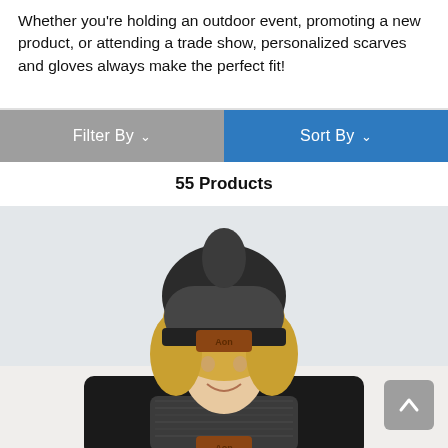Whether you're holding an outdoor event, promoting a new product, or attending a trade show, personalized scarves and gloves always make the perfect fit!
[Figure (screenshot): Filter By and Sort By button bar. Left half is grey with 'Filter By ∨', right half is blue with 'Sort By ∨'.]
55 Products
[Figure (photo): A smiling blonde woman wearing a dark grey marled knit beanie with a brown leather 'Aon' patch and a matching dark grey marled knit scarf with 'Aon' patch, dressed in a black long-sleeve shirt, photographed outdoors in a snowy setting.]